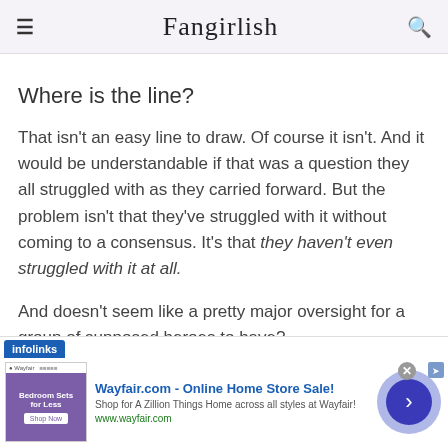Fangirlish
Where is the line?
That isn't an easy line to draw. Of course it isn't. And it would be understandable if that was a question they all struggled with as they carried forward. But the problem isn't that they've struggled with it without coming to a consensus. It's that they haven't even struggled with it at all.
And doesn't seem like a pretty major oversight for a group of supposed heroes to have?
[Figure (other): Wayfair online advertisement banner with infolinks label, showing bedroom furniture image and 'Wayfair.com - Online Home Store Sale!' text]